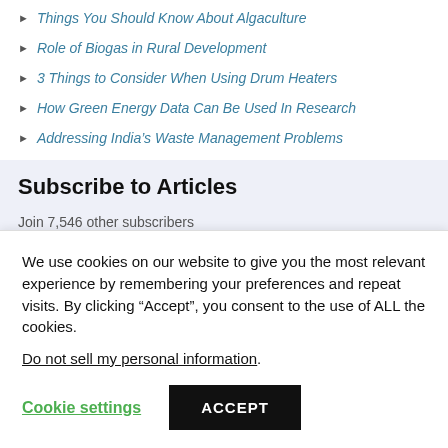Things You Should Know About Algaculture
Role of Biogas in Rural Development
3 Things to Consider When Using Drum Heaters
How Green Energy Data Can Be Used In Research
Addressing India's Waste Management Problems
Subscribe to Articles
Join 7,546 other subscribers
Email Address
We use cookies on our website to give you the most relevant experience by remembering your preferences and repeat visits. By clicking “Accept”, you consent to the use of ALL the cookies.
Do not sell my personal information.
Cookie settings
ACCEPT